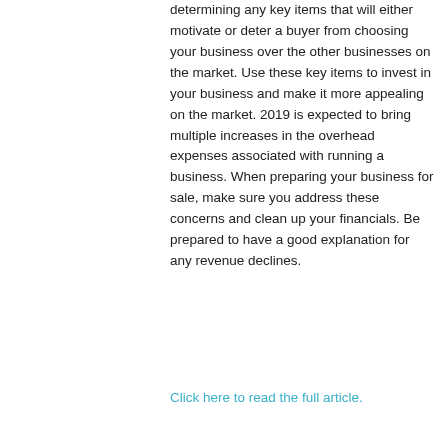determining any key items that will either motivate or deter a buyer from choosing your business over the other businesses on the market. Use these key items to invest in your business and make it more appealing on the market. 2019 is expected to bring multiple increases in the overhead expenses associated with running a business. When preparing your business for sale, make sure you address these concerns and clean up your financials. Be prepared to have a good explanation for any revenue declines.
Click here to read the full article.